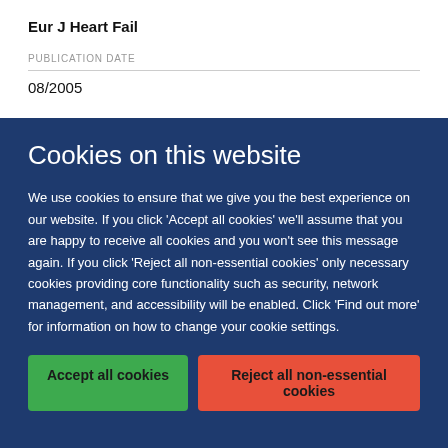Eur J Heart Fail
PUBLICATION DATE
08/2005
Cookies on this website
We use cookies to ensure that we give you the best experience on our website. If you click 'Accept all cookies' we'll assume that you are happy to receive all cookies and you won't see this message again. If you click 'Reject all non-essential cookies' only necessary cookies providing core functionality such as security, network management, and accessibility will be enabled. Click 'Find out more' for information on how to change your cookie settings.
Accept all cookies
Reject all non-essential cookies